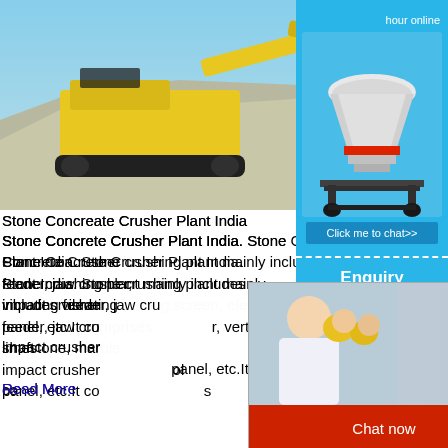[Figure (photo): Yellow excavator/crusher machine working on a gravel/stone pile against a blue sky background]
Stone Concreate Crusher Plant India
Stone Concrete Crusher Plant India. Stone Concrete Crusher Plant India. Stone crushing plant mainly includes vibrating feeder, jaw crusher, cone crusher, impact crusher, vertical shaft impact crusher, vibrating screen, belt conveyor, electric control panel, etc.It co... limestone, mar...
Read More
[Figure (photo): Mobile stone crusher machine on a rocky/gravel site outdoors]
Stone Concreate Crusher Plant India - hortulus-s... stone crusher stone at what price; crusher s...
[Figure (screenshot): Live chat popup overlay with woman in white shirt, engineers in background, LIVE CHAT title in red, Chat now and Chat later buttons]
[Figure (screenshot): Right sidebar showing blue panel with cone crusher machine image, hour online text, Click me to chat>> button, Enquiry section, and limingjlmofen brand text]